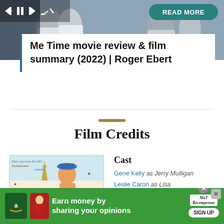[Figure (screenshot): Top area showing a movie/media scene with people, overlaid with media player controls (previous, pause, next, mute icons) and a teal READ MORE button]
Me Time movie review & film summary (2022) | Roger Ebert
Film Credits
[Figure (photo): Movie poster for 'An American in Paris' - MGM Technicolor musical, showing illustrated man with Eiffel Tower and text 'What a Joy to See M-G-M's Technicolor Musical! An American in Paris']
Cast
Gene Kelly as Jerry Mulligan
Leslie Caron as Lisa
Oscar Levant as Adam
Directed by
Vincente Minnelli
[Figure (screenshot): Green advertisement banner: 'Earn money by sharing your opinions' with Amazon logo, MuT Recompensas branding and SIGN UP button]